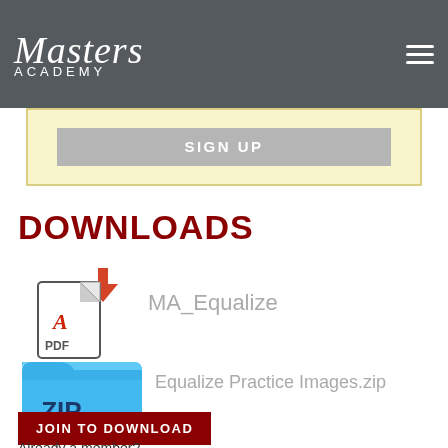Masters Academy
[Figure (screenshot): SIGN UP button area with light yellow background]
DOWNLOADS
[Figure (illustration): PDF file icon with red download arrow]
MA_Equalize
[Figure (illustration): Blue folder icon with .ZIP label]
Equalize Practice Images.zip
JOIN TO DOWNLOAD
Already a member?
Log in to download